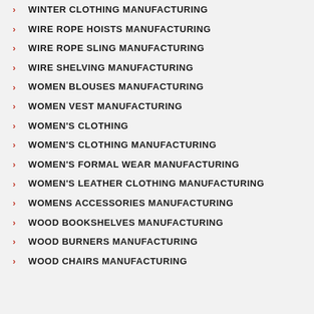WINTER CLOTHING MANUFACTURING
WIRE ROPE HOISTS MANUFACTURING
WIRE ROPE SLING MANUFACTURING
WIRE SHELVING MANUFACTURING
WOMEN BLOUSES MANUFACTURING
WOMEN VEST MANUFACTURING
WOMEN'S CLOTHING
WOMEN'S CLOTHING MANUFACTURING
WOMEN'S FORMAL WEAR MANUFACTURING
WOMEN'S LEATHER CLOTHING MANUFACTURING
WOMENS ACCESSORIES MANUFACTURING
WOOD BOOKSHELVES MANUFACTURING
WOOD BURNERS MANUFACTURING
WOOD CHAIRS MANUFACTURING